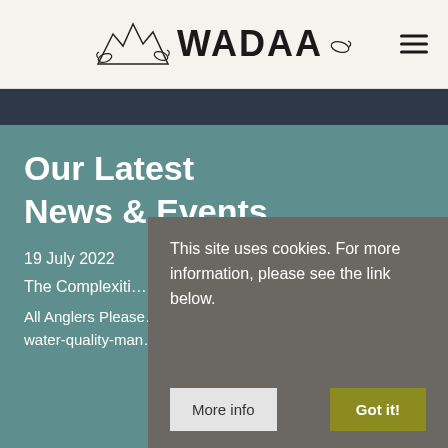WADAA
Our Latest News & Events
19 July 2022
The Complexiti…
All Anglers Please… complex issues o… water-quality-man… article interesting.
This site uses cookies. For more information, please see the link below.